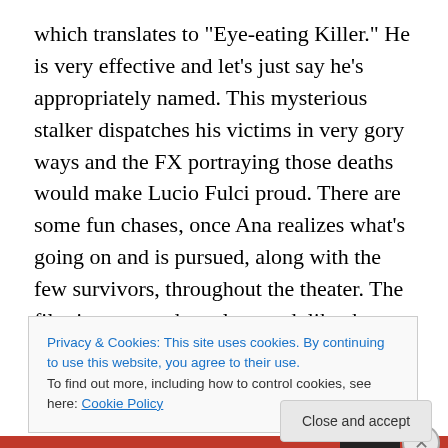which translates to "Eye-eating Killer." He is very effective and let's just say he's appropriately named. This mysterious stalker dispatches his victims in very gory ways and the FX portraying those deaths would make Lucio Fulci proud. There are some fun chases, once Ana realizes what's going on and is pursued, along with the few survivors, throughout the theater. The film is very moderately paced, like the movies it pays homage to, but balances that out by not overstaying it's welcome at only 88 minutes long. There is a nostalgic and atmospheric electronic score by Hernán González and some very
Privacy & Cookies: This site uses cookies. By continuing to use this website, you agree to their use.
To find out more, including how to control cookies, see here: Cookie Policy
Close and accept